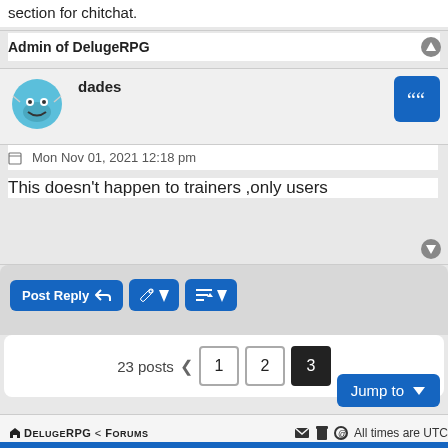section for chitchat.
Admin of DelugeRPG
dades
Mon Nov 01, 2021 12:18 pm
This doesn't happen to trainers ,only users
Post Reply
23 posts  1  2  3
Jump to
DelugeRPG < Forums   All times are UTC